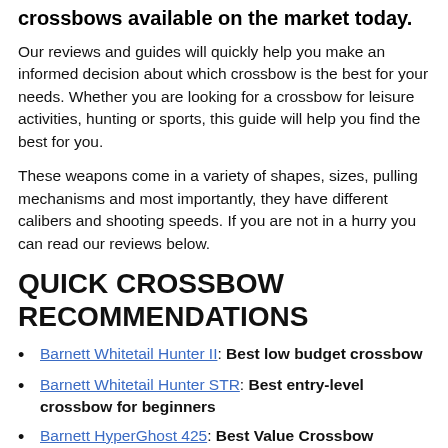crossbows available on the market today.
Our reviews and guides will quickly help you make an informed decision about which crossbow is the best for your needs. Whether you are looking for a crossbow for leisure activities, hunting or sports, this guide will help you find the best for you.
These weapons come in a variety of shapes, sizes, pulling mechanisms and most importantly, they have different calibers and shooting speeds. If you are not in a hurry you can read our reviews below.
QUICK CROSSBOW RECOMMENDATIONS
Barnett Whitetail Hunter II: Best low budget crossbow
Barnett Whitetail Hunter STR: Best entry-level crossbow for beginners
Barnett HyperGhost 425: Best Value Crossbow